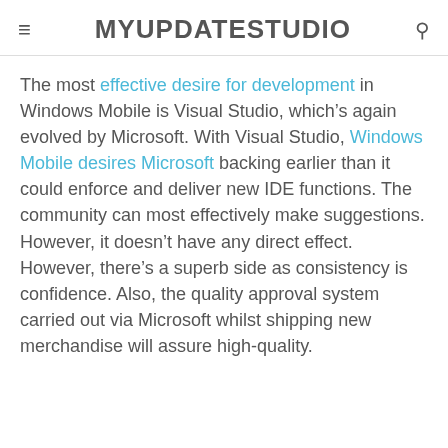MYUPDATESTUDIO
The most effective desire for development in Windows Mobile is Visual Studio, which’s again evolved by Microsoft. With Visual Studio, Windows Mobile desires Microsoft backing earlier than it could enforce and deliver new IDE functions. The community can most effectively make suggestions. However, it doesn’t have any direct effect. However, there’s a superb side as consistency is confidence. Also, the quality approval system carried out via Microsoft whilst shipping new merchandise will assure high-quality.